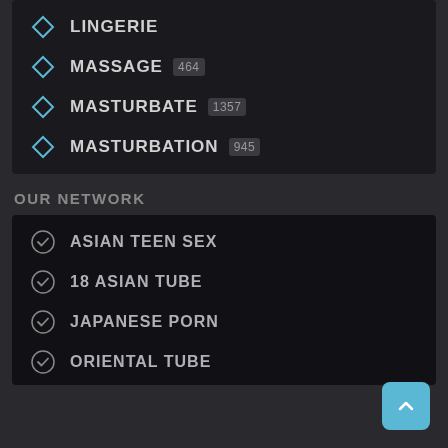LINGERIE
MASSAGE 464
MASTURBATE 1357
MASTURBATION 945
OUR NETWORK
ASIAN TEEN SEX
18 ASIAN TUBE
JAPANESE PORN
ORIENTAL TUBE